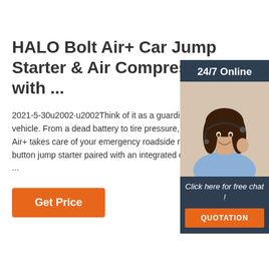HALO Bolt Air+ Car Jump Starter & Air Compressor with ...
2021-5-30u2002·u2002Think of it as a guardian angel for your vehicle. From a dead battery to tire pressure, the Halo Bolt Air+ takes care of your emergency roadside needs with a one-button jump starter paired with an integrated compressor that ...
[Figure (illustration): Chat support panel with woman wearing headset, 24/7 Online header, Click here for free chat text, and QUOTATION button]
Get Price